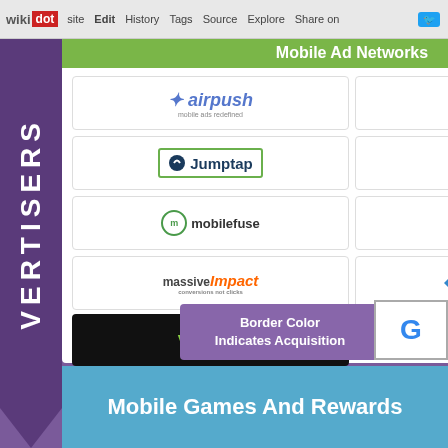wikidot | site | Edit | History | Tags | Source | Explore | Share on Twitter
[Figure (infographic): Mobile Ad Networks infographic showing logos of ad network companies arranged in a grid within a white panel. Left side has a purple arrow with 'VERTISERS' text. Companies shown: Airpush, InMobi, Jumptap, LeadBolt, MobileFuse, Mojiva, MassiveImpact, RevMob, Targetspot, Vserv. Right partial panel shows: mob, Nokia, and colored dots logos. Legend box: 'Border Color Indicates Acquisition'. Partial Google logo visible.]
Mobile Games And Rewards